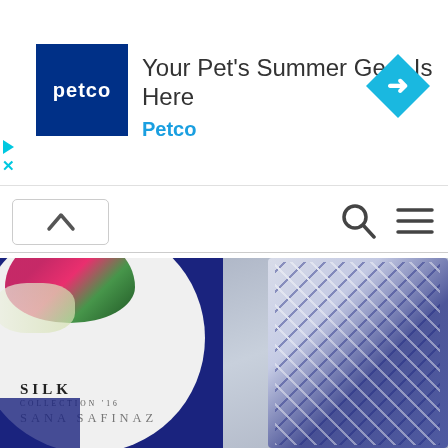[Figure (screenshot): Petco advertisement banner: Petco logo (dark blue square with white 'petco' text), headline 'Your Pet's Summer Gear Is Here', brand name 'Petco' in blue, and a blue diamond navigation icon on the right. Small play and close icons on the left edge.]
[Figure (screenshot): Website navigation bar with an upward chevron button on the left, search icon and hamburger menu icon on the right.]
[Figure (photo): Sana Safinaz Silk Collection '16 fashion banner. Left side shows a dark blue background with a large white circle containing colorful floral elements (pink roses, green leaves). Text reads 'SILK COLLECTION '16 SANA SAFINAZ'. Right side shows a model wearing an ornate blue and white patterned silk outfit with gold accents, against a grey watercolor background.]